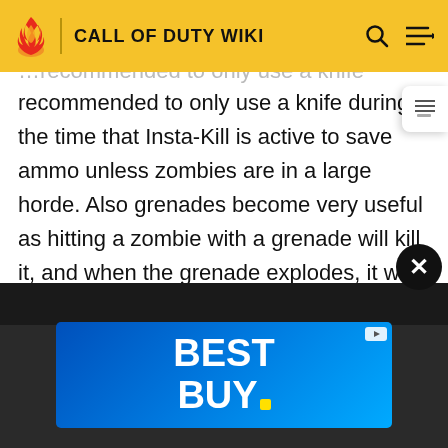CALL OF DUTY WIKI
recommended to only use a knife during the time that Insta-Kill is active to save ammo unless zombies are in a large horde. Also grenades become very useful as hitting a zombie with a grenade will kill it, and when the grenade explodes, it will kill all zombies in the blast radius. In Call of Duty: Black Ops Cold War, Insta-Kill will also increase damage dealt to Elite class enemies, alongside making all damage deal the exact damage needed to kill a standard zombie at that round, regardless if it would normally deal more.
[Figure (screenshot): Best Buy advertisement banner — blue gradient background with BEST BUY text in white bold font and yellow dot trademark symbol]